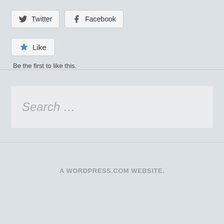[Figure (screenshot): Twitter share button with bird icon]
[Figure (screenshot): Facebook share button with f icon]
[Figure (screenshot): Like button with star icon]
Be the first to like this.
Search …
A WORDPRESS.COM WEBSITE.